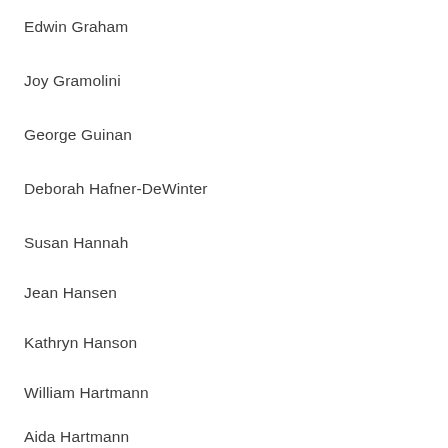Edwin Graham
Joy Gramolini
George Guinan
Deborah Hafner-DeWinter
Susan Hannah
Jean Hansen
Kathryn Hanson
William Hartmann
Aida Hartmann